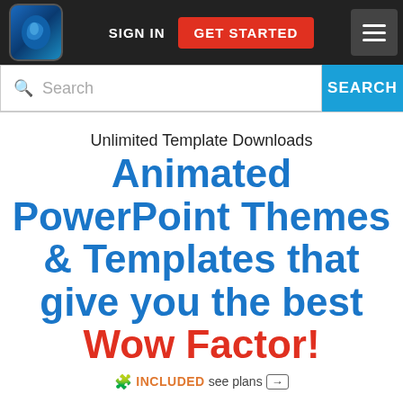[Figure (screenshot): Website navigation bar with logo, SIGN IN link, GET STARTED button, and hamburger menu on dark background]
[Figure (screenshot): Search bar with search icon, placeholder text 'Search', and blue SEARCH button]
Unlimited Template Downloads
Animated PowerPoint Themes & Templates that give you the best Wow Factor!
🧩 INCLUDED see plans →
Thousands of Animated template slides to spark life in all your presentations.